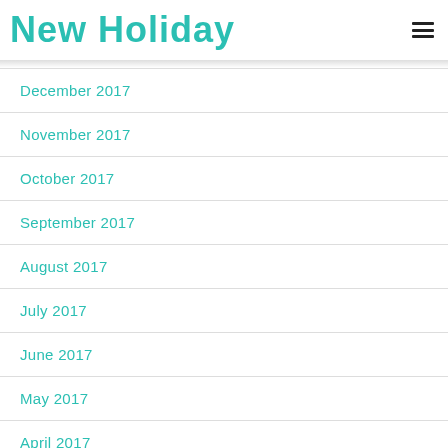New Holiday
December 2017
November 2017
October 2017
September 2017
August 2017
July 2017
June 2017
May 2017
April 2017
March 2017